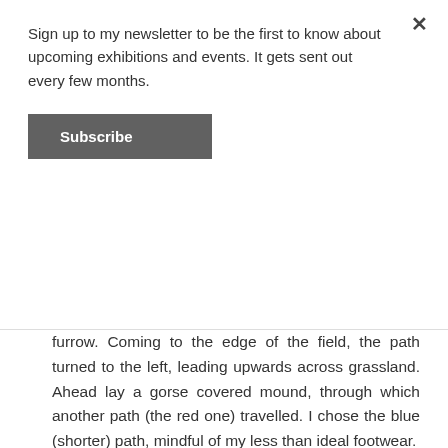Sign up to my newsletter to be the first to know about upcoming exhibitions and events. It gets sent out every few months.
Subscribe
furrow.  Coming to the edge of the field, the path turned to the left, leading upwards across grassland.  Ahead lay a gorse covered mound, through which another path (the red one) travelled.  I chose the blue (shorter) path, mindful of my less than ideal footwear.
Through the barley field, the sound had been the swishing of heads and beards.  As I approached the crest of the slope, the sounds of bird cries began to reach me in the wind.  On the ground, on the trodden grass, were occasional wisps of downy white. Some small, some larger. As I started going downhill, the frequency of downy wisps became